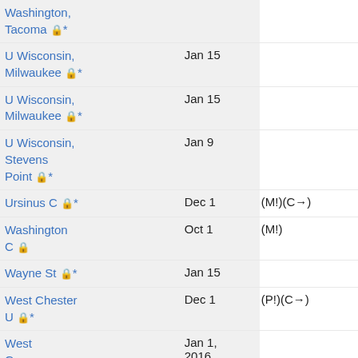| Institution | Deadline | Notes |
| --- | --- | --- |
| Washington, Tacoma 🔒* |  |  |
| U Wisconsin, Milwaukee 🔒* | Jan 15 |  |
| U Wisconsin, Milwaukee 🔒* | Jan 15 |  |
| U Wisconsin, Stevens Point 🔒* | Jan 9 |  |
| Ursinus C 🔒* | Dec 1 | (M!)(C→) |
| Washington C 🔒 | Oct 1 | (M!) |
| Wayne St 🔒* | Jan 15 |  |
| West Chester U 🔒* | Dec 1 | (P!)(C→) |
| West Governors U 🔒* | Jan 1, 2016 |  |
| West Virginia Wesleyan C 🔒* |  | (M!)(C→) |
| Wheaton ... | Jan 22 |  |